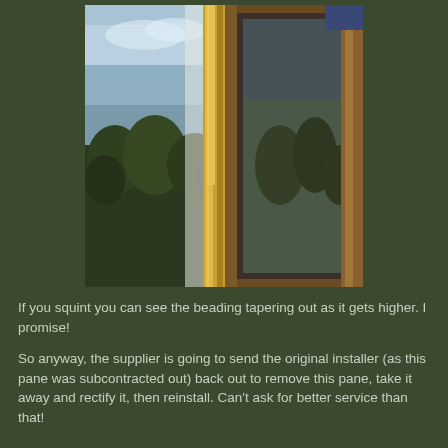[Figure (photo): Close-up photograph of a wooden window frame with glass panes. The left side shows a reflective glass panel against a sky background with trees visible. The center shows a wooden mullion/beading strip. The right side shows another glass pane with a wooden frame and tree reflections.]
If you squint you can see the beading tapering out as it gets higher. I promise!
So anyway, the supplier is going to send the original installer (as this pane was subcontracted out) back out to remove this pane, take it away and rectify it, then reinstall. Can't ask for better service than that!